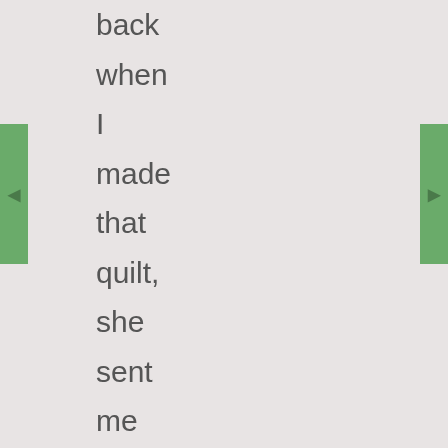back when I made that quilt, she sent me the most sincere email about how much she liked it – I